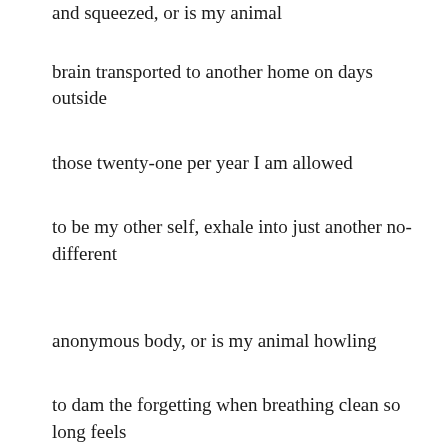and squeezed, or is my animal
brain transported to another home on days outside
those twenty-one per year I am allowed
to be my other self, exhale into just another no-different
anonymous body, or is my animal howling
to dam the forgetting when breathing clean so long feels like birthright,